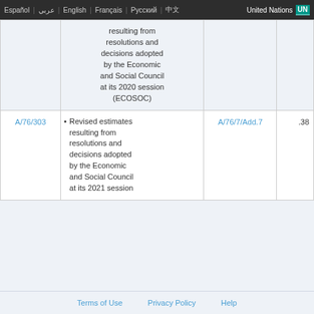Español | عربي | English | Français | Русский | 中文 | United Nations UN
|  | Description | Related Documents |  |
| --- | --- | --- | --- |
|  | resulting from resolutions and decisions adopted by the Economic and Social Council at its 2020 session (ECOSOC) |  |  |
| A/76/303 | • Revised estimates resulting from resolutions and decisions adopted by the Economic and Social Council at its 2021 session | A/76/7/Add.7 | .38 |
Terms of Use   Privacy Policy   Help